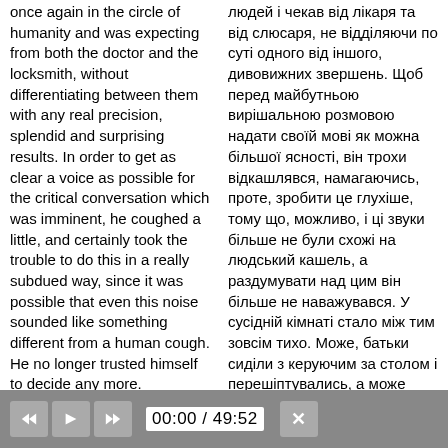once again in the circle of humanity and was expecting from both the doctor and the locksmith, without differentiating between them with any real precision, splendid and surprising results. In order to get as clear a voice as possible for the critical conversation which was imminent, he coughed a little, and certainly took the trouble to do this in a really subdued way, since it was possible that even this noise sounded like something different from a human cough. He no longer trusted himself to decide any more. Meanwhile in the next
людей і чекав від лікаря та від слюсаря, не відділяючи по суті одного від іншого, дивовижних звершень. Щоб перед майбутньою вирішальною розмовою надати своїй мові як можна більшої ясності, він трохи відкашлявся, намагаючись, проте, зробити це глухіше, тому що, можливо, і ці звуки більше не були схожі на людський кашель, а раздумувати над цим він більше не наважувався. У сусідній кімнаті стало між тим зовсім тихо. Може, батьки сиділи з керуючим за столом і перешіптувались, а може
[Figure (screenshot): Media player control bar showing rewind, play, fast-forward buttons and time display 00:00 / 49:52 with a close button]